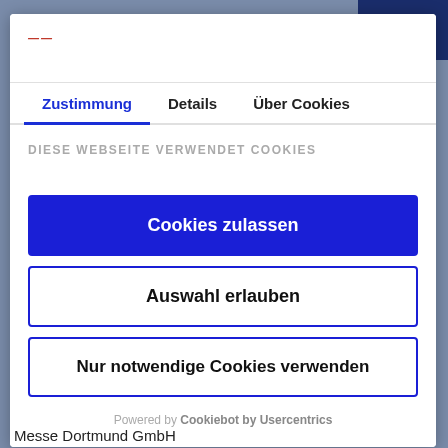[Figure (logo): Small red logo in modal header]
Zustimmung | Details | Über Cookies
DIESE WEBSEITE VERWENDET COOKIES
Cookies zulassen
Auswahl erlauben
Nur notwendige Cookies verwenden
Powered by Cookiebot by Usercentrics
Messe Dortmund GmbH